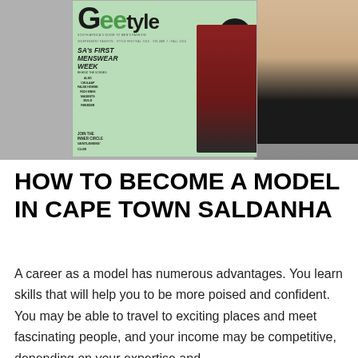[Figure (photo): Magazine cover of GQ Style South Africa showing a man in a red/burgundy suit with green background, alongside a cropped photo of a person's torso in a black top against grey background]
HOW TO BECOME A MODEL IN CAPE TOWN SALDANHA
A career as a model has numerous advantages. You learn skills that will help you to be more poised and confident. You may be able to travel to exciting places and meet fascinating people, and your income may be competitive, depending on your expertise and